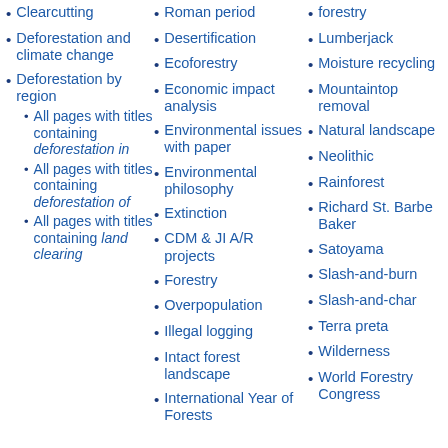Clearcutting
Deforestation and climate change
Deforestation by region
All pages with titles containing deforestation in
All pages with titles containing deforestation of
All pages with titles containing land clearing
Roman period
Desertification
Ecoforestry
Economic impact analysis
Environmental issues with paper
Environmental philosophy
Extinction
CDM & JI A/R projects
Forestry
Overpopulation
Illegal logging
Intact forest landscape
International Year of Forests
forestry
Lumberjack
Moisture recycling
Mountaintop removal
Natural landscape
Neolithic
Rainforest
Richard St. Barbe Baker
Satoyama
Slash-and-burn
Slash-and-char
Terra preta
Wilderness
World Forestry Congress